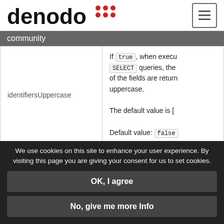[Figure (logo): Denodo logo with red dot grid icon]
community
| Parameter | Description |
| --- | --- |
| identifiersUppercase | If true, when executing SELECT queries, the names of the fields are returned in uppercase.

The default value is [false]

Default value: false |
|  | Number of connections the driver will establish... |
We use cookies on this site to enhance your user experience. By visiting this page you are giving your consent for us to set cookies.
OK, I agree
No, give me more Info